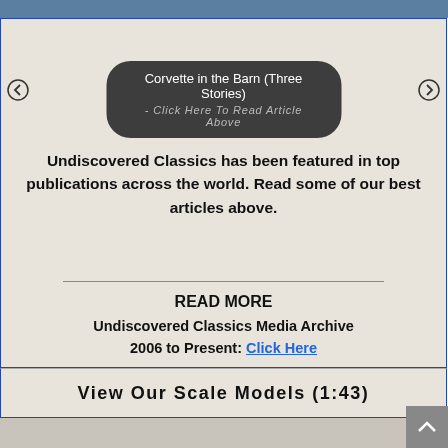[Figure (screenshot): Top blue banner strip at top of page]
Corvette in the Barn (Three Stories) - Click Here To Read Article Above
Undiscovered Classics has been featured in top publications across the world. Read some of our best articles above.
READ MORE
Undiscovered Classics Media Archive
2006 to Present: Click Here
View Our Scale Models (1:43)